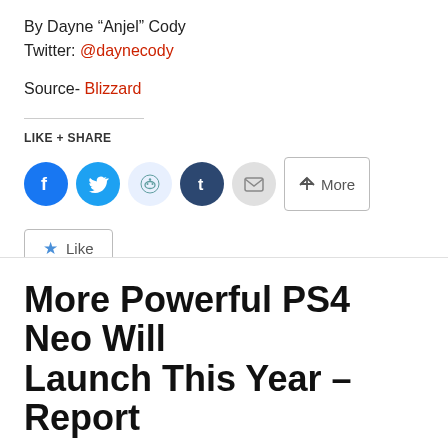By Dayne “Anjel” Cody
Twitter: @daynecody
Source- Blizzard
LIKE + SHARE
[Figure (other): Social share buttons: Facebook, Twitter, Reddit, Tumblr, Email, More]
[Figure (other): Like button with star icon]
Be the first to like this.
More Powerful PS4 Neo Will Launch This Year – Report